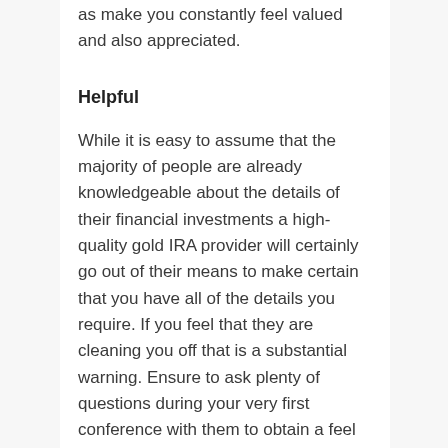as make you constantly feel valued and also appreciated.
Helpful
While it is easy to assume that the majority of people are already knowledgeable about the details of their financial investments a high-quality gold IRA provider will certainly go out of their means to make certain that you have all of the details you require. If you feel that they are cleaning you off that is a substantial warning. Ensure to ask plenty of questions during your very first conference with them to obtain a feel for just how eager they are to aid inform you.
Open up to Comments